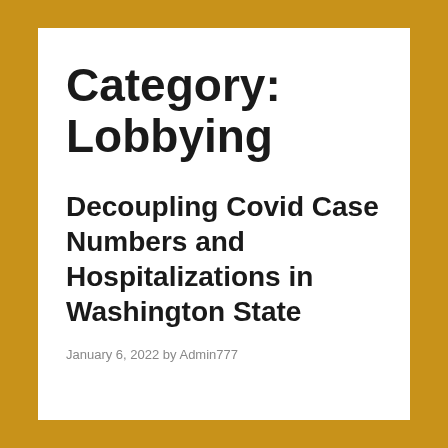Category: Lobbying
Decoupling Covid Case Numbers and Hospitalizations in Washington State
January 6, 2022 by Admin777